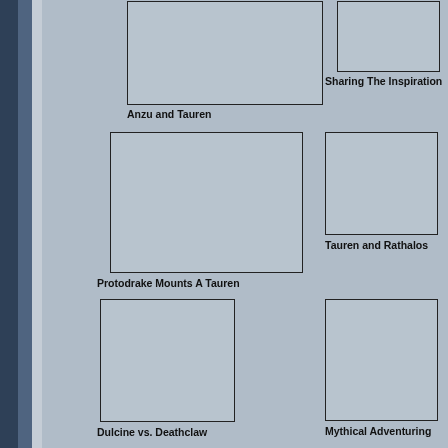[Figure (illustration): Empty image placeholder for 'Anzu and Tauren']
Anzu and Tauren
[Figure (illustration): Empty image placeholder for 'Sharing The Inspiration']
Sharing The Inspiration
[Figure (illustration): Empty image placeholder for 'Protodrake Mounts A Tauren']
Protodrake Mounts A Tauren
[Figure (illustration): Empty image placeholder for 'Tauren and Rathalos']
Tauren and Rathalos
[Figure (illustration): Empty image placeholder for 'Dulcine vs. Deathclaw']
Dulcine vs. Deathclaw
[Figure (illustration): Empty image placeholder for 'Mythical Adventuring']
Mythical Adventuring